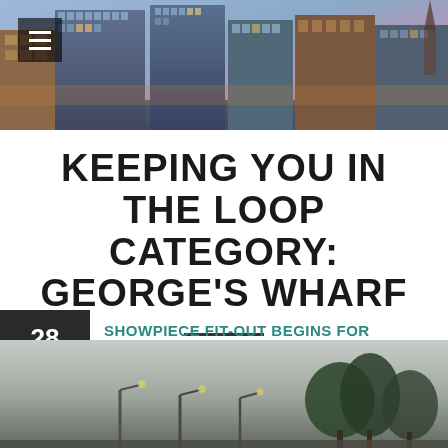[Figure (photo): Header photo of modern waterfront buildings/apartments at dusk with purple sky, mixed brick and glass architecture]
KEEPING YOU IN THE LOOP CATEGORY: GEORGE'S WHARF
——
28 Jul — SHOWPIECE FIT-OUT BEGINS FOR OSBORNE CLARKE AT HALO, ONE OF UK'S MOST
[Figure (photo): Outdoor photo showing lamp posts and trees against a grey overcast sky]